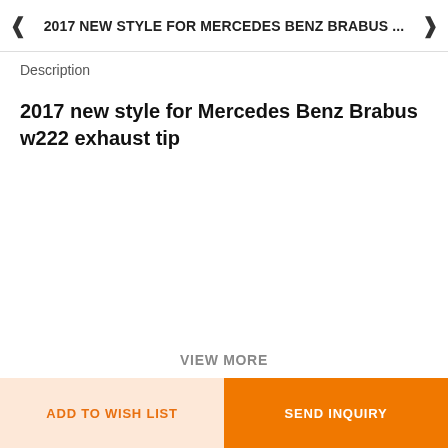2017 NEW STYLE FOR MERCEDES BENZ BRABUS ...
Description
2017 new style for Mercedes Benz Brabus w222 exhaust tip
VIEW MORE
ADD TO WISH LIST
SEND INQUIRY